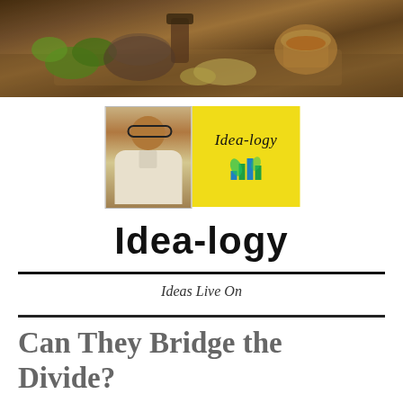[Figure (photo): Header photo of herbs, spices, tea and food ingredients on a wooden surface — includes green peppers, ginger, a cup of tea, and a mortar with spices]
[Figure (logo): Idea-logy blog logo: a photo of a man with glasses next to a yellow square containing the text 'Idea-logy' in italic script with a bar chart icon below]
Idea-logy
Ideas Live On
Can They Bridge the Divide?